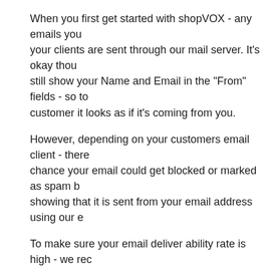When you first get started with shopVOX - any emails you your clients are sent through our mail server. It's okay thou still show your Name and Email in the "From" fields - so to customer it looks as if it's coming from you.
However, depending on your customers email client - there chance your email could get blocked or marked as spam b showing that it is sent from your email address using our e
To make sure your email deliver ability rate is high - we rec you add your own SMTP settings and send all emails throu own email server.
SMTP Settings
How to find? Simply click your profile on the top right c